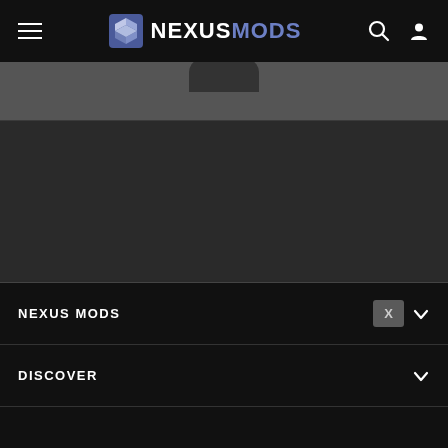NEXUSMODS navigation bar with hamburger menu, logo, search and user icons
[Figure (screenshot): NexusMods website header navigation bar with hamburger menu on left, NexusMods logo in center, search and user icons on right, on dark background]
[Figure (screenshot): Dark gray content area below the header banner]
NEXUS MODS
DISCOVER